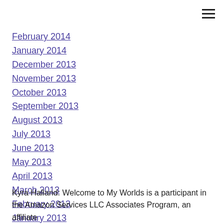February 2014
January 2014
December 2013
November 2013
October 2013
September 2013
August 2013
July 2013
June 2013
May 2013
April 2013
March 2013
February 2013
January 2013
Kyra Halland: Welcome to My Worlds is a participant in the Amazon Services LLC Associates Program, an affiliate